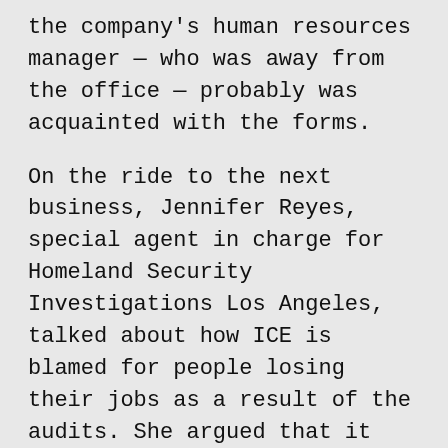the company's human resources manager — who was away from the office — probably was acquainted with the forms.
On the ride to the next business, Jennifer Reyes, special agent in charge for Homeland Security Investigations Los Angeles, talked about how ICE is blamed for people losing their jobs as a result of the audits. She argued that it was the employers' fault for hiring people in the country illegally in the first place.
ICE is trying to strike a balance with these audits, she said. The agency was levying fines on businesses that violate the law that are stiff enough to deprive them of some of the profits gained by hiring people in the country illegally, but not so harsh that the companies